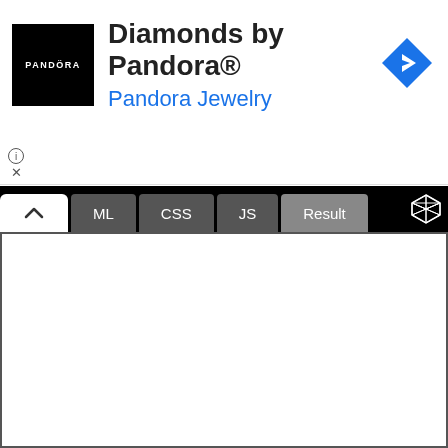[Figure (screenshot): Pandora Jewelry advertisement banner with black logo square containing 'PANDORA' text, heading 'Diamonds by Pandora®', subheading 'Pandora Jewelry' in blue, and a blue diamond navigation arrow icon on the right]
[Figure (screenshot): CodePen editor interface showing a tab bar with a chevron/collapse button, tabs labeled 'ML', 'CSS', 'JS', and 'Result' (active), a CodePen logo icon on the right, and a white result panel below the black tab bar]